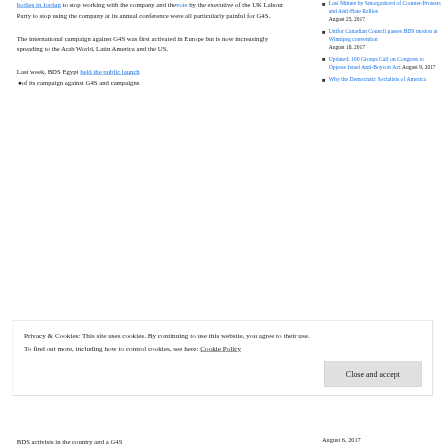bodies in Jordan to stop working with the company and the vote by the executive of the UK Labour Party to stop using the company at its annual conference were all particularly painful for G4S.
The international campaign against G4S was first activated in Europe but is now increasingly spreading to the Arab World, Latin America and the US.
Last week, BDS Egypt held the public launch of its campaign against G4S and campaigns
Last Minute by Smorgasbord of Counter-Protests and Anti-Hate Rallies August 25, 2017
Unifor Canadian Council passes BDS motion at Winnipeg convention August 18, 2017
Updated: 100 Groups Call on Congress to Oppose Israel Anti-Boycott Act August 9, 2017
Why the Democratic Socialists of America
Privacy & Cookies: This site uses cookies. By continuing to use this website, you agree to their use.
To find out more, including how to control cookies, see here: Cookie Policy
Close and accept
BDS activists in the country and a G4S
August 6, 2017